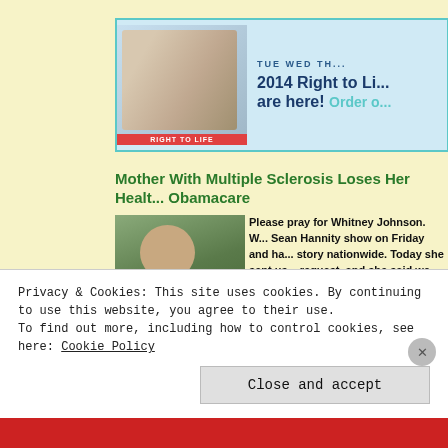[Figure (screenshot): Website screenshot showing a Right to Life calendar banner ad with a baby's face, and an article about a mother with multiple sclerosis losing health insurance under Obamacare, with a cookie consent popup overlay.]
Mother With Multiple Sclerosis Loses Her Health Insurance Under Obamacare
Please pray for Whitney Johnson. W... Sean Hannity show on Friday and ha... story nationwide. Today she sent us... request, and she said we could shar...
She’s a beautiful 26-year-old mo...
Privacy & Cookies: This site uses cookies. By continuing to use this website, you agree to their use. To find out more, including how to control cookies, see here: Cookie Policy
Close and accept